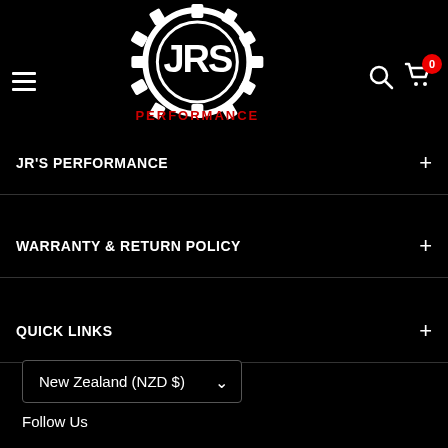[Figure (logo): JRS Performance logo — gear icon with JRS text and PERFORMANCE in red below]
JR'S PERFORMANCE
WARRANTY & RETURN POLICY
QUICK LINKS
New Zealand (NZD $)
Follow Us